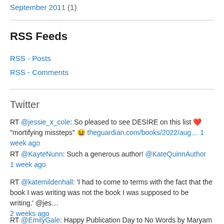September 2011 (1)
RSS Feeds
RSS - Posts
RSS - Comments
Twitter
RT @jessie_x_cole: So pleased to see DESIRE on this list ❤ "mortifying missteps" 😆 theguardian.com/books/2022/aug… 1 week ago
RT @KayteNunn: Such a generous author! @KateQuinnAuthor 1 week ago
RT @katemildenhall: 'I had to come to terms with the fact that the book I was writing was not the book I was supposed to be writing.' @jes… 2 weeks ago
RT @EmilyGale: Happy Publication Day to No Words by Maryam